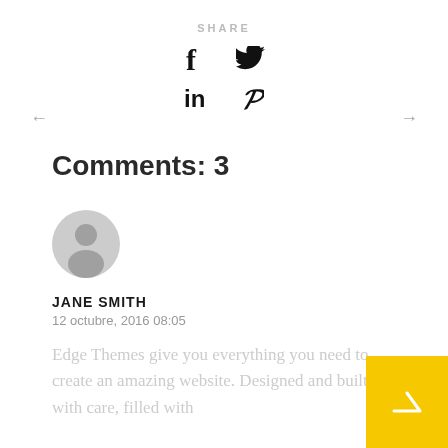SHARE
[Figure (infographic): Social share icons: Facebook (f), Twitter (bird), LinkedIn (in), Pinterest (p)]
Comments: 3
[Figure (illustration): Gray circular avatar/user icon]
JANE SMITH
12 octubre, 2016 08:05
Edge Themes give you everything you need to create an amazing website. Designed and built with care, filled with